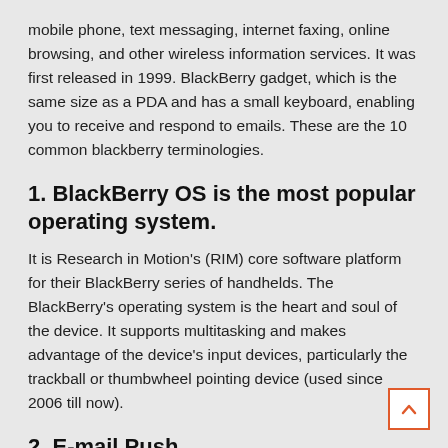mobile phone, text messaging, internet faxing, online browsing, and other wireless information services. It was first released in 1999. BlackBerry gadget, which is the same size as a PDA and has a small keyboard, enabling you to receive and respond to emails. These are the 10 common blackberry terminologies.
1. BlackBerry OS is the most popular operating system.
It is Research in Motion's (RIM) core software platform for their BlackBerry series of handhelds. The BlackBerry's operating system is the heart and soul of the device. It supports multitasking and makes advantage of the device's input devices, particularly the trackball or thumbwheel pointing device (used since 2006 till now).
2. E-mail Push
Push email is the technology that allows you to send and receive e-mail in real time to your clients. Each email is compressed twice, resulting in a file size reduction of up to 50%.